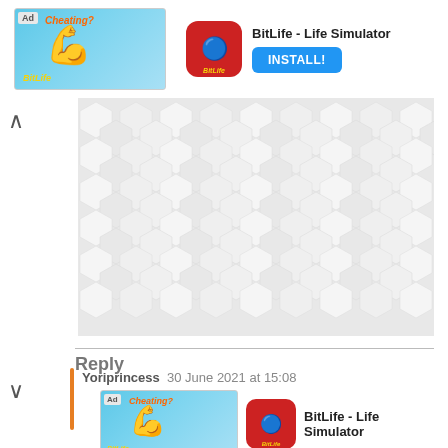[Figure (screenshot): App advertisement banner for BitLife - Life Simulator with 'Ad' label, cheating-themed image with flexed arm emoji, red BitLife icon, app name and INSTALL! button]
[Figure (other): Hexagonal tile/cube pattern background in light grey/white]
Reply
Yoriprincess  30 June 2021 at 15:08
[Figure (screenshot): Second app advertisement banner for BitLife - Life Simulator with 'Ad' label, cheating-themed image, red BitLife icon, app name and large INSTALL! button]